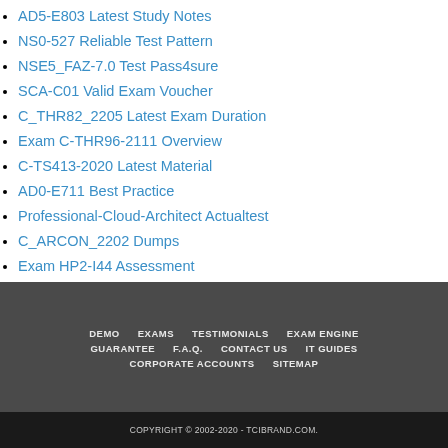AD5-E803 Latest Study Notes
NS0-527 Reliable Test Pattern
NSE5_FAZ-7.0 Test Pass4sure
SCA-C01 Valid Exam Voucher
C_THR82_2205 Latest Exam Duration
Exam C-THR96-2111 Overview
C-TS413-2020 Latest Material
AD0-E711 Best Practice
Professional-Cloud-Architect Actualtest
C_ARCON_2202 Dumps
Exam HP2-I44 Assessment
DEMO  EXAMS  TESTIMONIALS  EXAM ENGINE  GUARANTEE  F.A.Q.  CONTACT US  IT GUIDES  CORPORATE ACCOUNTS  SITEMAP
COPYRIGHT © 2002-2020 - TCIBRAND.COM.